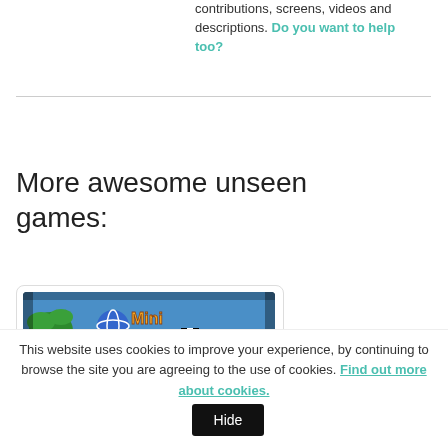contributions, screens, videos and descriptions. Do you want to help too?
More awesome unseen games:
[Figure (screenshot): Screenshot of a video game called 'Mini Racers' showing a kart racing game title screen with colorful graphics on a wooden-look track background]
This website uses cookies to improve your experience, by continuing to browse the site you are agreeing to the use of cookies. Find out more about cookies. Hide